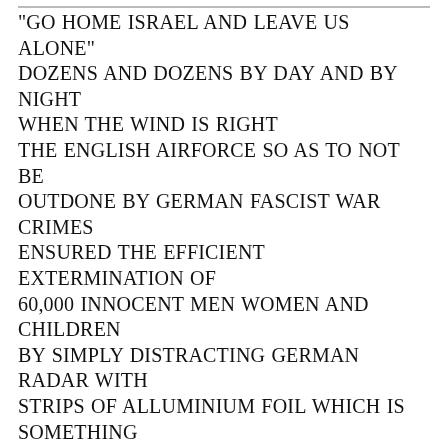"GO HOME ISRAEL AND LEAVE US ALONE" DOZENS AND DOZENS BY DAY AND BY NIGHT WHEN THE WIND IS RIGHT THE ENGLISH AIRFORCE SO AS TO NOT BE OUTDONE BY GERMAN FASCIST WAR CRIMES ENSURED THE EFFICIENT EXTERMINATION OF 60,000 INNOCENT MEN WOMEN AND CHILDREN BY SIMPLY DISTRACTING GERMAN RADAR WITH STRIPS OF ALLUMINIUM FOIL WHICH IS SOMETHING AIR TRAFFIC CONTROL WOULD NOT LIKE TO SEE HANGING IN LONG THIN STRIPS OF DIFFERENT LENGTHS FROM A HOT AIR BALLOON FLOATING DOWNWIND FROM GAZA ON AN EVENING SSW BREEZE IF YOU GET THE DRIFT---DING DING NON-VIOLENT RESISTANCE PALASTINE STYLE MORE POWERFUL THAN GUNS OR DYNAMITE POSITIVE PALASTINE CREATIVE NEWS WHICH CANNOT BE REFORMED AND LIED ABOUT BY